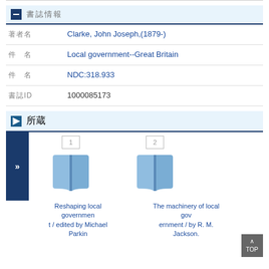書誌情報
| フィールド | 値 |
| --- | --- |
| 著者名 | Clarke, John Joseph,(1879-) |
| 件　名 | Local government--Great Britain |
| 件　名 | NDC:318.933 |
| 書誌ID | 1000085173 |
所蔵
[Figure (illustration): Two book cover thumbnails labeled 1 and 2, showing blue open book icons]
Reshaping local government / edited by Michael Parkin
The machinery of local government / by R. M. Jackson.